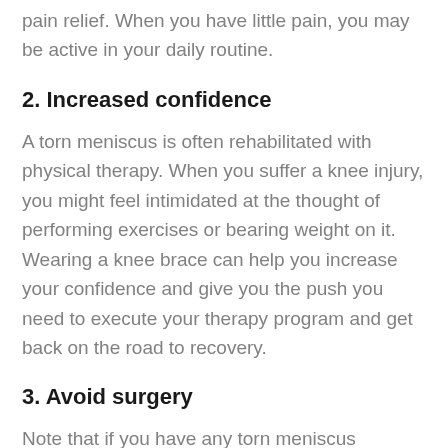pain relief. When you have little pain, you may be active in your daily routine.
2. Increased confidence
A torn meniscus is often rehabilitated with physical therapy. When you suffer a knee injury, you might feel intimidated at the thought of performing exercises or bearing weight on it. Wearing a knee brace can help you increase your confidence and give you the push you need to execute your therapy program and get back on the road to recovery.
3. Avoid surgery
Note that if you have any torn meniscus symptoms